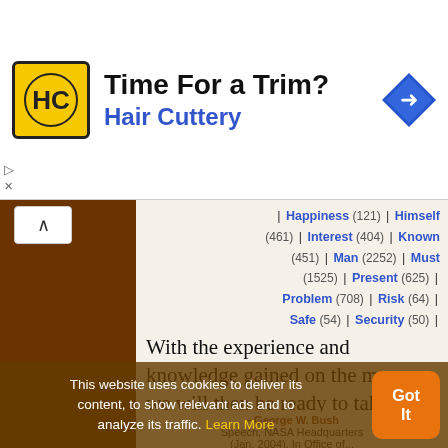[Figure (screenshot): Advertisement banner for Hair Cuttery with logo, text 'Time For a Trim? Hair Cuttery', and navigation icon]
| Happiness (121) | Himself (461) | Interest (404) | Known (451) | Man (2252) | Must (1525) | Present (625) | Problem (708) | Risk (64) | Safe (54) | Security (50) | Spirit (273) | Thing (1914) | Toil (26) | Why (491)
With the experience and knowledge gained on the moon, we will then be ready to take the next steps of space exploration: human missions to Mars and to worlds beyond.
– George W. Bush
Speech, NASA Headquarters
(Jan. 2004). In Office of...
This website uses cookies to deliver its content, to show relevant ads and to analyze its traffic. Learn More